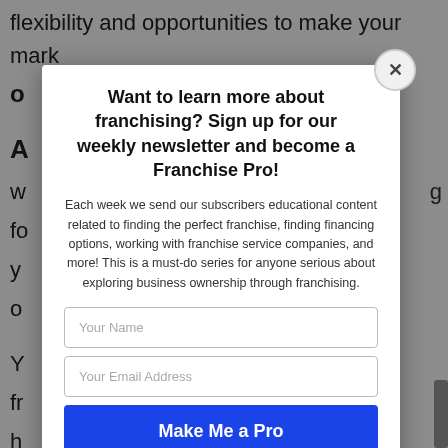flexibility and opportunities to make your mark
Want to learn more about franchising? Sign up for our weekly newsletter and become a Franchise Pro!
Each week we send our subscribers educational content related to finding the perfect franchise, finding financing options, working with franchise service companies, and more! This is a must-do series for anyone serious about exploring business ownership through franchising.
Your Name
Your Email Address
Make Me a Pro